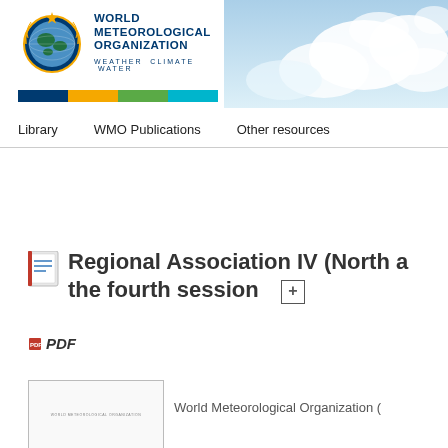[Figure (logo): World Meteorological Organization logo with globe and laurel wreath, star at top. Text: WORLD METEOROLOGICAL ORGANIZATION. Tagline: WEATHER CLIMATE WATER. Color bar with blue, yellow, green, teal stripes.]
[Figure (photo): Sky/clouds background image on upper right of banner.]
Library   WMO Publications   Other resources
Regional Association IV (North a... the fourth session
PDF
[Figure (screenshot): Small thumbnail of a WMO document cover page with text WORLD METEOROLOGICAL ORGANIZATION]
World Meteorological Organization (